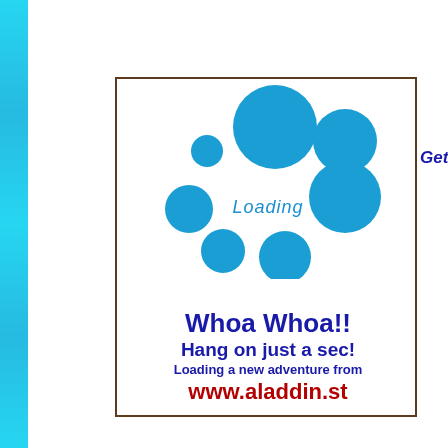[Figure (illustration): Loading screen card with blue bubble circles, 'Loading' text, and website info. Left cyan decorative strip on page. Text 'Getting dressed' visible on right edge.]
Loading
Whoa Whoa!!
Hang on just a sec!
Loading a new adventure from
www.aladdin.st
Getting dressed